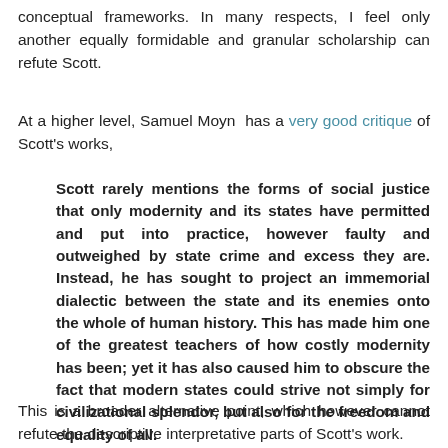conceptual frameworks. In many respects, I feel only another equally formidable and granular scholarship can refute Scott.
At a higher level, Samuel Moyn has a very good critique of Scott's works,
Scott rarely mentions the forms of social justice that only modernity and its states have permitted and put into practice, however faulty and outweighed by state crime and excess they are. Instead, he has sought to project an immemorial dialectic between the state and its enemies onto the whole of human history. This has made him one of the greatest teachers of how costly modernity has been; yet it has also caused him to obscure the fact that modern states could strive not simply for civilizational splendor, but also for the freedom and equality of all.
This is a broader alternative point, which however cannot refute the descriptive interpretative parts of Scott's work.